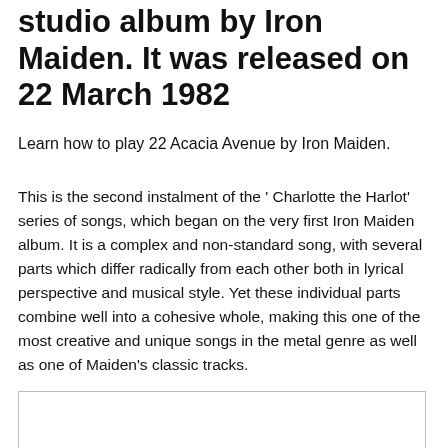studio album by Iron Maiden. It was released on 22 March 1982
Learn how to play 22 Acacia Avenue by Iron Maiden.
This is the second instalment of the ' Charlotte the Harlot' series of songs, which began on the very first Iron Maiden album. It is a complex and non-standard song, with several parts which differ radically from each other both in lyrical perspective and musical style. Yet these individual parts combine well into a cohesive whole, making this one of the most creative and unique songs in the metal genre as well as one of Maiden's classic tracks.
[Figure (other): Empty bordered box/content area]